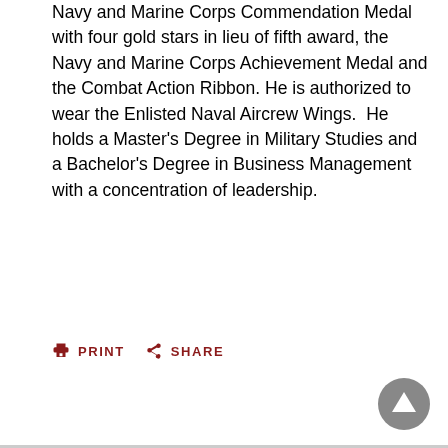Navy and Marine Corps Commendation Medal with four gold stars in lieu of fifth award, the Navy and Marine Corps Achievement Medal and the Combat Action Ribbon. He is authorized to wear the Enlisted Naval Aircrew Wings.  He holds a Master's Degree in Military Studies and a Bachelor's Degree in Business Management with a concentration of leadership.
PRINT   SHARE